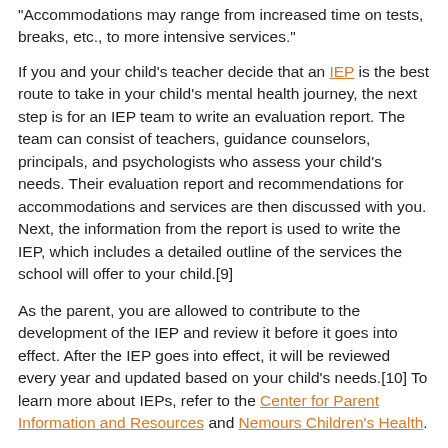"Accommodations may range from increased time on tests, breaks, etc., to more intensive services."
If you and your child's teacher decide that an IEP is the best route to take in your child's mental health journey, the next step is for an IEP team to write an evaluation report. The team can consist of teachers, guidance counselors, principals, and psychologists who assess your child's needs. Their evaluation report and recommendations for accommodations and services are then discussed with you. Next, the information from the report is used to write the IEP, which includes a detailed outline of the services the school will offer to your child.[9]
As the parent, you are allowed to contribute to the development of the IEP and review it before it goes into effect. After the IEP goes into effect, it will be reviewed every year and updated based on your child's needs.[10] To learn more about IEPs, refer to the Center for Parent Information and Resources and Nemours Children's Health.
Creating a Calm Atmosphere at Home
When you were a kid and teenager, what were some of